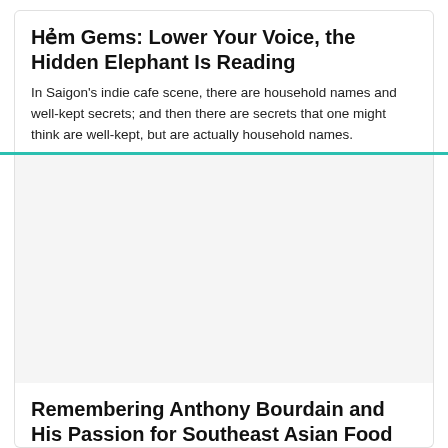Hẻm Gems: Lower Your Voice, the Hidden Elephant Is Reading
In Saigon's indie cafe scene, there are household names and well-kept secrets; and then there are secrets that one might think are well-kept, but are actually household names.
[Figure (photo): Blank/white image placeholder for a photo associated with the second article]
Remembering Anthony Bourdain and His Passion for Southeast Asian Food